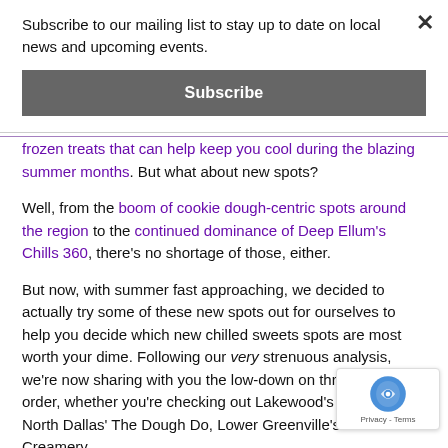Subscribe to our mailing list to stay up to date on local news and upcoming events.
Subscribe
frozen treats that can help keep you cool during the blazing summer months. But what about new spots?
Well, from the boom of cookie dough-centric spots around the region to the continued dominance of Deep Ellum's Chills 360, there's no shortage of those, either.
But now, with summer fast approaching, we decided to actually try some of these new spots out for ourselves to help you decide which new chilled sweets spots are most worth your dime. Following our very strenuous analysis, we're now sharing with you the low-down on three dishes to order, whether you're checking out Lakewood's Snow Baby, North Dallas' The Dough Do, Lower Greenville's Frost Bite Creamery.
Get the scoop on each of these below.